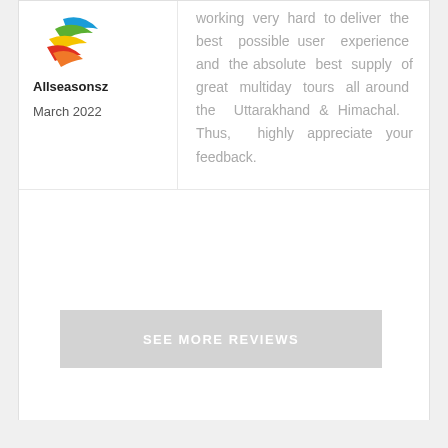[Figure (logo): Colorful bird/leaf logo for Allseasonsz]
Allseasonsz
March 2022
working very hard to deliver the best possible user experience and the absolute best supply of great multiday tours all around the Uttarakhand & Himachal. Thus, highly appreciate your feedback.
SEE MORE REVIEWS